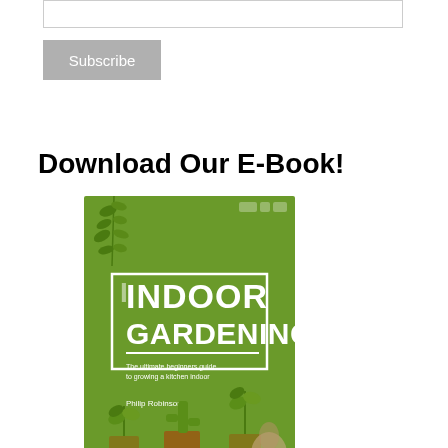[Figure (screenshot): Email input text field, empty, with border]
[Figure (screenshot): Subscribe button, gray background with white text]
Download Our E-Book!
[Figure (illustration): Book cover for 'Indoor Gardening' with green background, plant illustrations, and subtitle text. Author: Philip Robinson.]